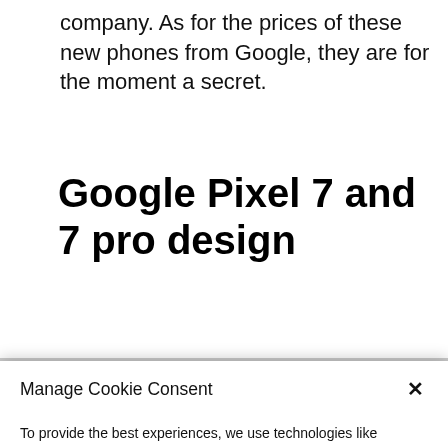company. As for the prices of these new phones from Google, they are for the moment a secret.
Google Pixel 7 and 7 pro design
Manage Cookie Consent
To provide the best experiences, we use technologies like cookies to store and/or access device information. Consenting to these technologies will allow us to process data such as browsing behavior or unique IDs on this site. Not consenting or withdrawing consent, may adversely affect certain features and functions.
Accept
Cookie Policy